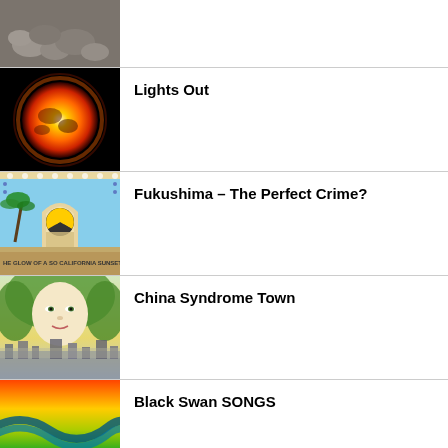[Figure (photo): Partial top row showing a nature/rocks photo thumbnail]
[Figure (photo): Album/book cover showing a glowing orange sun or planet on black background]
Lights Out
[Figure (illustration): Illustrated cover art showing a nuclear radiation symbol arch over a beach scene with text 'HE GLOW OF A SO CALIFORNIA SUNSET']
Fukushima – The Perfect Crime?
[Figure (illustration): Illustrated cover showing a woman's face with flowing green hair/leaves over a cityscape]
China Syndrome Town
[Figure (illustration): Colorful abstract illustration with orange, yellow, and green tones - partial view]
Black Swan SONGS